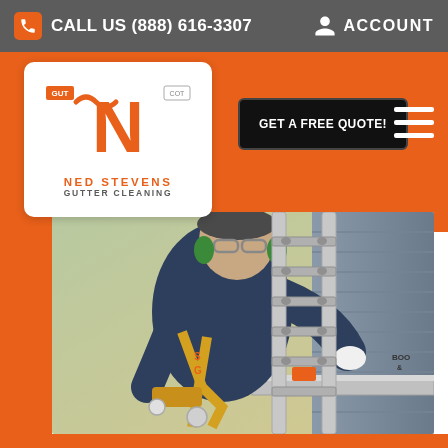CALL US (888) 616-3307   ACCOUNT
[Figure (logo): Ned Stevens Gutter Cleaning logo — white rounded rectangle with orange N letter and company name]
GET A FREE QUOTE!
[Figure (photo): A worker in navy uniform and yellow safety harness climbing an aluminum ladder, cleaning gutters on a rooftop]